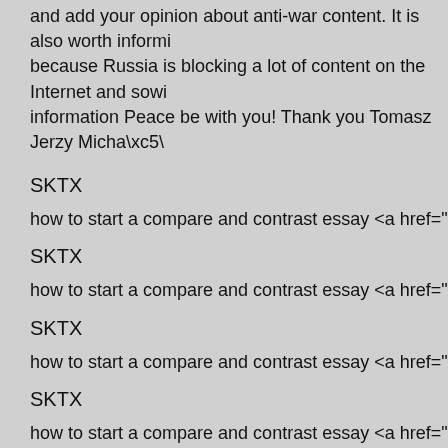and add your opinion about anti-war content. It is also worth informi because Russia is blocking a lot of content on the Internet and sowi information Peace be with you! Thank you Tomasz Jerzy Micha\xc5\
SKTX
how to start a compare and contrast essay <a href="https://essayme
SKTX
how to start a compare and contrast essay <a href="https://essayme
SKTX
how to start a compare and contrast essay <a href="https://essayme
SKTX
how to start a compare and contrast essay <a href="https://essayme
SKTX
how to start a compare and contrast essay <a href="https://essayme
SKTX
SKTX